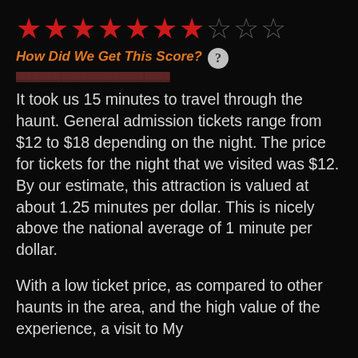[Figure (other): Star rating display showing 7 filled red stars and 3 empty outline stars out of 10]
How Did We Get This Score?
It took us 15 minutes to travel through the haunt. General admission tickets range from $12 to $18 depending on the night. The price for tickets for the night that we visited was $12. By our estimate, this attraction is valued at about 1.25 minutes per dollar. This is nicely above the national average of 1 minute per dollar.
With a low ticket price, as compared to other haunts in the area, and the high value of the experience, a visit to My